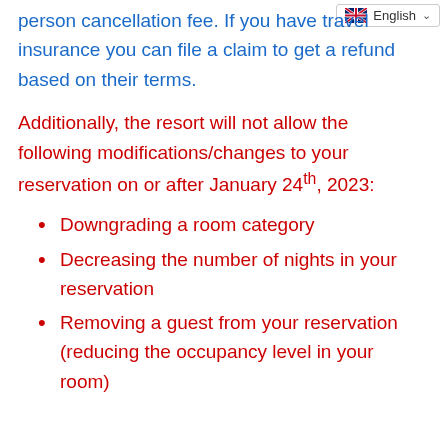person cancellation fee. If you have travel insurance you can file a claim to get a refund based on their terms.
Additionally, the resort will not allow the following modifications/changes to your reservation on or after January 24th, 2023:
Downgrading a room category
Decreasing the number of nights in your reservation
Removing a guest from your reservation (reducing the occupancy level in your room)